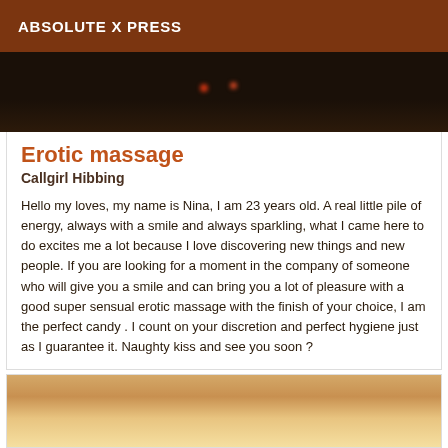ABSOLUTE X PRESS
[Figure (photo): Dark nighttime outdoor photo with two small red lights visible against a dark background]
Erotic massage
Callgirl Hibbing
Hello my loves, my name is Nina, I am 23 years old. A real little pile of energy, always with a smile and always sparkling, what I came here to do excites me a lot because I love discovering new things and new people. If you are looking for a moment in the company of someone who will give you a smile and can bring you a lot of pleasure with a good super sensual erotic massage with the finish of your choice, I am the perfect candy . I count on your discretion and perfect hygiene just as I guarantee it. Naughty kiss and see you soon ?
[Figure (photo): Partial photo of a blonde person, cropped at bottom of page]